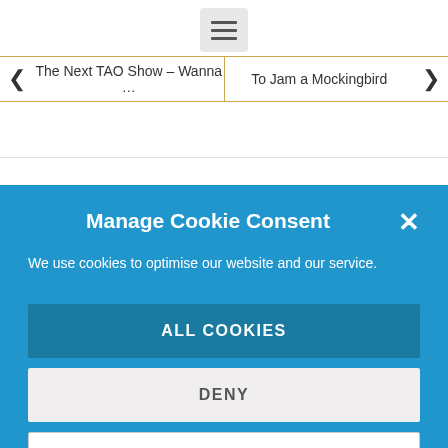[Figure (screenshot): Hamburger menu button icon with three horizontal lines on a light grey background]
The Next TAO Show – Wanna …
To Jam a Mockingbird
Manage Cookie Consent
We use cookies to optimise our website and our service.
ALL COOKIES
DENY
VIEW PREFERENCES